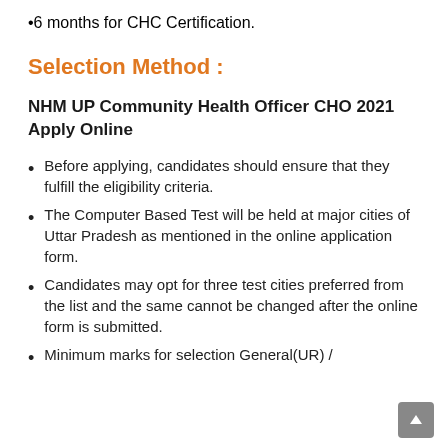6 months for CHC Certification.
Selection Method :
NHM UP Community Health Officer CHO 2021 Apply Online
Before applying, candidates should ensure that they fulfill the eligibility criteria.
The Computer Based Test will be held at major cities of Uttar Pradesh as mentioned in the online application form.
Candidates may opt for three test cities preferred from the list and the same cannot be changed after the online form is submitted.
Minimum marks for selection General(UR) /